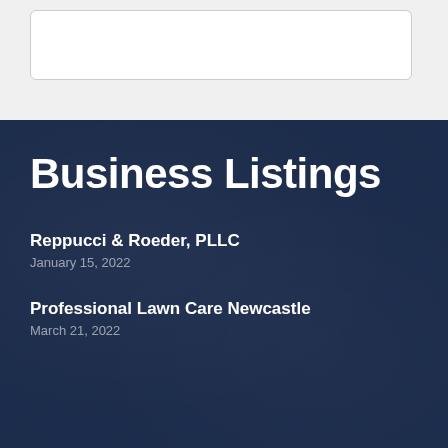[Figure (screenshot): Top light grey section with a white card/box visible]
Business Listings
Reppucci & Roeder, PLLC
January 15, 2022
Professional Lawn Care Newcastle
March 21, 2022